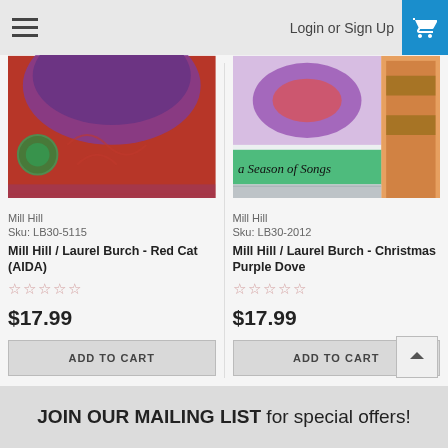Login or Sign Up
[Figure (photo): Mill Hill / Laurel Burch - Red Cat (AIDA) cross stitch product image showing red and purple needlework]
Mill Hill
Sku: LB30-5115
Mill Hill / Laurel Burch - Red Cat (AIDA)
$17.99
ADD TO CART
[Figure (photo): Mill Hill / Laurel Burch - Christmas Purple Dove cross stitch product image showing a Season of Songs text with colorful needlework]
Mill Hill
Sku: LB30-2012
Mill Hill / Laurel Burch - Christmas Purple Dove
$17.99
ADD TO CART
JOIN OUR MAILING LIST for special offers!